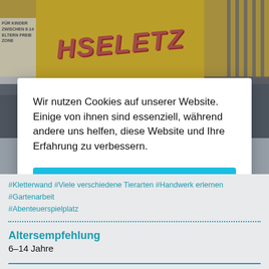[Figure (photo): Photo of a playground sign in yellow with red letters, a white information sign on the left, and a fence on the right. Bottom portion shows a dark background.]
Wir nutzen Cookies auf unserer Website. Einige von ihnen sind essenziell, während andere uns helfen, diese Website und Ihre Erfahrung zu verbessern.
Akzeptieren
Individuelle Datenschutzeinstellungen
Datenschutzerklärung
#Kletterwand #Viele verschiedene Tierarten #Handwerk erlernen #Gartenarbeit #Abenteuerspielplatz
Altersempfehlung
6–14 Jahre